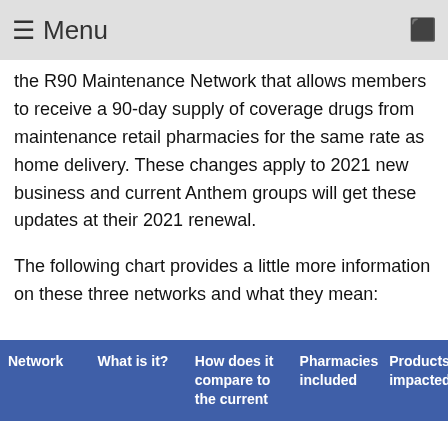≡ Menu
the R90 Maintenance Network that allows members to receive a 90-day supply of coverage drugs from maintenance retail pharmacies for the same rate as home delivery. These changes apply to 2021 new business and current Anthem groups will get these updates at their 2021 renewal.
The following chart provides a little more information on these three networks and what they mean:
| Network | What is it? | How does it compare to the current | Pharmacies included | Products impacted |
| --- | --- | --- | --- | --- |